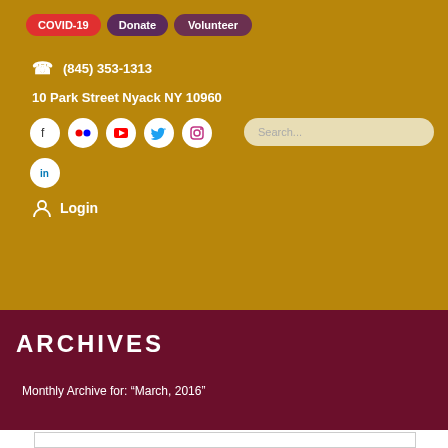COVID-19  Donate  Volunteer
☎ (845) 353-1313
10 Park Street Nyack NY 10960
[Figure (logo): Social media icons: Facebook, Flickr, YouTube, Twitter, Instagram, LinkedIn]
Login
[Figure (logo): Elmwood Playhouse logo 1947-2022, 75th Anniversary]
ARCHIVES
Monthly Archive for: "March, 2016"